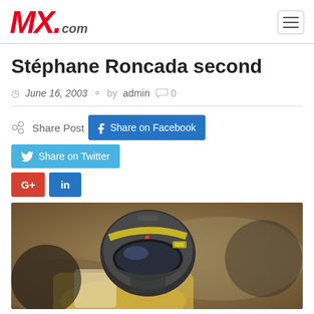MX.com
Stéphane Roncada second
June 16, 2003  by admin  0
Share Post  Share on Facebook  Share on Twitter  G+  in
[Figure (photo): Close-up photo of a motocross rider wearing a decorated helmet and racing gear, yellow and white suit visible]